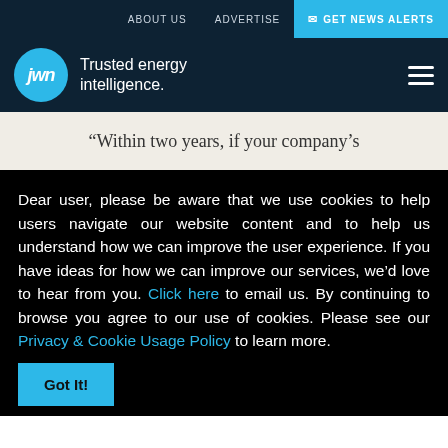ABOUT US   ADVERTISE   ✉ GET NEWS ALERTS
[Figure (logo): JWN logo — cyan circle with 'jwn' text, beside tagline 'Trusted energy intelligence.']
“Within two years, if your company’s
Dear user, please be aware that we use cookies to help users navigate our website content and to help us understand how we can improve the user experience. If you have ideas for how we can improve our services, we’d love to hear from you. Click here to email us. By continuing to browse you agree to our use of cookies. Please see our Privacy & Cookie Usage Policy to learn more.
Got It!